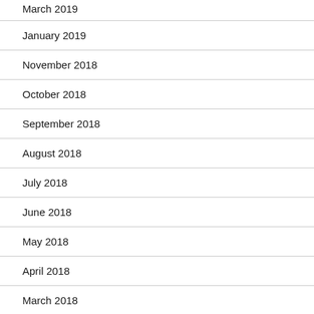March 2019
January 2019
November 2018
October 2018
September 2018
August 2018
July 2018
June 2018
May 2018
April 2018
March 2018
December 2017